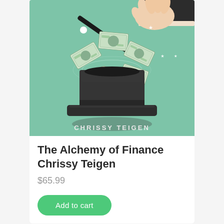[Figure (illustration): Book cover illustration: teal/mint green background with a magician's black top hat from which dollar bills are flying upward. A hand in a white-cuffed black sleeve holds a magic wand pointing into the hat. Text at bottom reads 'CHRISSY TEIGEN' in white capitals.]
The Alchemy of Finance Chrissy Teigen
$65.99
Add to cart